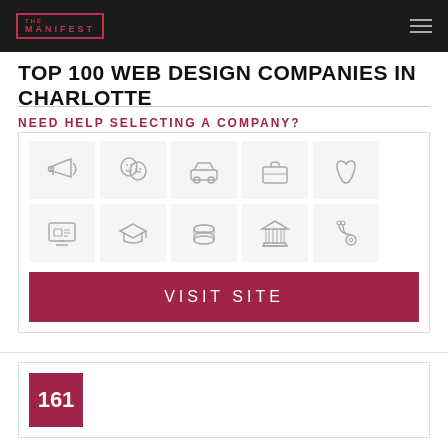THE MANIFEST
TOP 100 WEB DESIGN COMPANIES IN CHARLOTTE
NEED HELP SELECTING A COMPANY?
[Figure (infographic): Two rows of industry category icons: row 1 has megaphone/marketing, theater masks/arts, car/automotive, briefcase/business, dental/tooth icons; row 2 has e-commerce monitor, graduation cap/education, stacked coins/finance, building/government, stethoscope/medical icons]
VISIT SITE
161